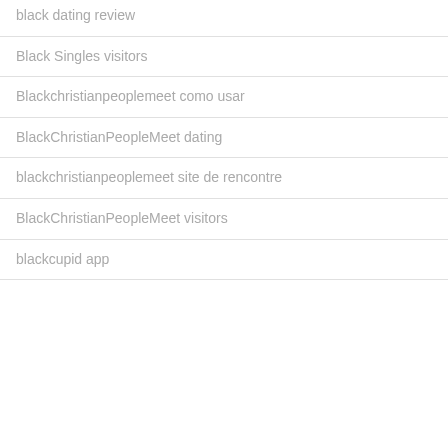black dating review
Black Singles visitors
Blackchristianpeoplemeet como usar
BlackChristianPeopleMeet dating
blackchristianpeoplemeet site de rencontre
BlackChristianPeopleMeet visitors
blackcupid app